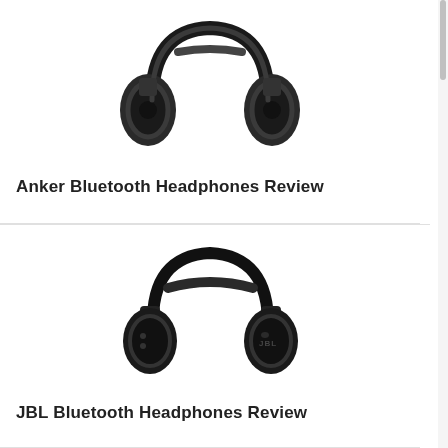[Figure (photo): Black over-ear Anker Bluetooth headphones, matte finish, shown from front-right angle on white background]
Anker Bluetooth Headphones Review
[Figure (photo): Black on-ear JBL Bluetooth headphones with JBL logo visible on ear cup, shown from front-right angle on white background]
JBL Bluetooth Headphones Review